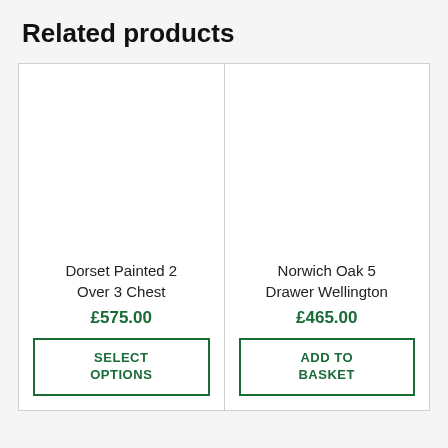Related products
Dorset Painted 2 Over 3 Chest
£575.00
SELECT OPTIONS
Norwich Oak 5 Drawer Wellington
£465.00
ADD TO BASKET